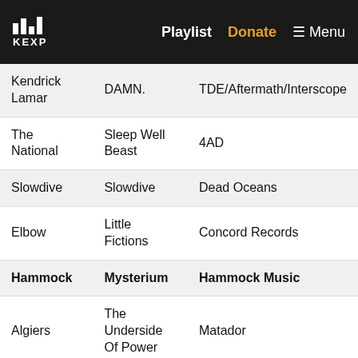KEXP — Playlist  Donate  Menu
| Artist | Album | Label |
| --- | --- | --- |
| Kendrick Lamar | DAMN. | TDE/Aftermath/Interscope |
| The National | Sleep Well Beast | 4AD |
| Slowdive | Slowdive | Dead Oceans |
| Elbow | Little Fictions | Concord Records |
| Hammock | Mysterium | Hammock Music |
| Algiers | The Underside Of Power | Matador |
| Cigarettes After Sex | Cigarettes After Sex | Partisan Records |
| amiina | Fantômas | Mengi |